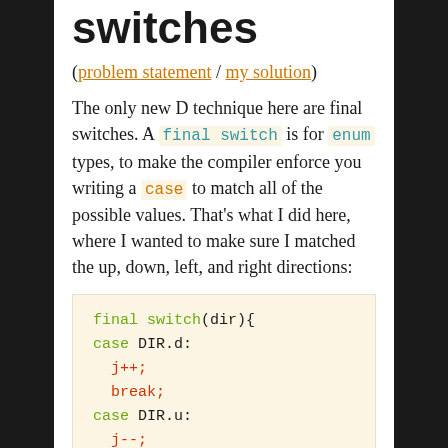switches
(problem statement / my solution)
The only new D technique here are final switches. A final switch is for enum types, to make the compiler enforce you writing a case to match all of the possible values. That's what I did here, where I wanted to make sure I matched the up, down, left, and right directions:
[Figure (screenshot): Code block showing a D language final switch statement with cases for DIR.d (j++; break;) and DIR.u (j--; break;) on a cream/beige background]